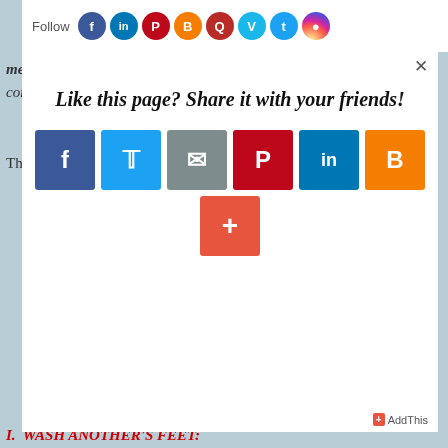[Figure (screenshot): Follow bar with social media icons at top of page]
mercy and condemned
The word mercy or compassion is from a very important Hebrew
[Figure (screenshot): Modal popup: Like this page? Share it with your friends! with social media share buttons (Facebook, Twitter, Email, Pinterest, LinkedIn, Blogger, +AddThis)]
I. WASH ANOTHER'S FEET: